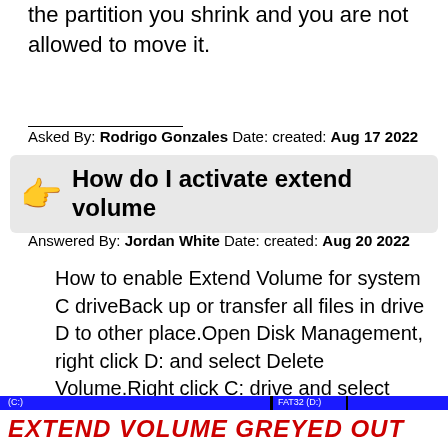the partition you shrink and you are not allowed to move it.
Asked By: Rodrigo Gonzales Date: created: Aug 17 2022
How do I activate extend volume
Answered By: Jordan White Date: created: Aug 20 2022
How to enable Extend Volume for system C driveBack up or transfer all files in drive D to other place.Open Disk Management, right click D: and select Delete Volume.Right click C: drive and select Extend Volume.In the pop-up Extend Volume Wizard window, simply click Next till Finish.Dec 26, 2019
[Figure (screenshot): Screenshot of a disk management interface showing 'Extend Volume Greyed Out' title in red text on white background, with a blue bar at the top representing disk partitions.]